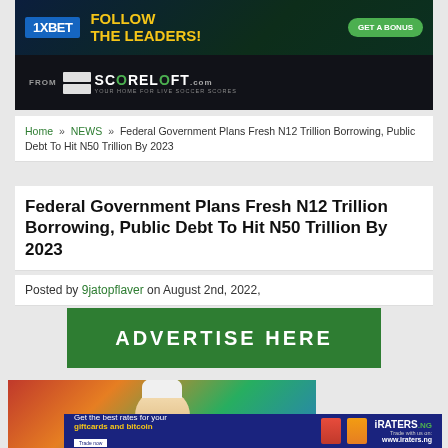[Figure (other): 1XBET advertisement banner: 'FOLLOW THE LEADERS! GET A BONUS' on dark background with sports imagery]
[Figure (other): Scoreloft.com banner: 'FROM SCORELOFT .com YOUR HOME FOR LIVE SOCCER SCORES' on dark background]
Home » NEWS » Federal Government Plans Fresh N12 Trillion Borrowing, Public Debt To Hit N50 Trillion By 2023
Federal Government Plans Fresh N12 Trillion Borrowing, Public Debt To Hit N50 Trillion By 2023
Posted by 9jatopflaver on August 2nd, 2022,
[Figure (other): Green advertisement banner with text 'ADVERTISE HERE']
[Figure (photo): Photo of a person wearing white attire and a hat, possibly a government official]
[Figure (other): iRaters.ng advertisement: 'Get the best rates for your giftcards and bitcoin' with trade links and brand logo]